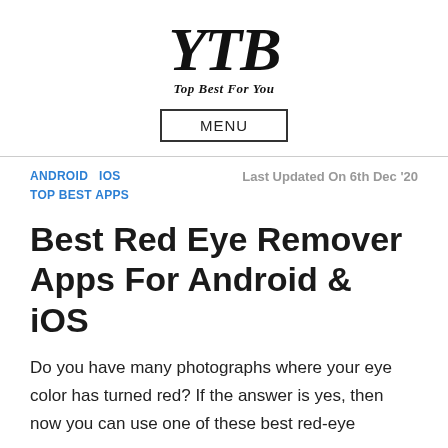[Figure (logo): YTB logo with italic bold text and tagline 'Top Best For You']
MENU
ANDROID   IOS   TOP BEST APPS   Last Updated On 6th Dec '20
Best Red Eye Remover Apps For Android & iOS
Do you have many photographs where your eye color has turned red? If the answer is yes, then now you can use one of these best red-eye remover apps.